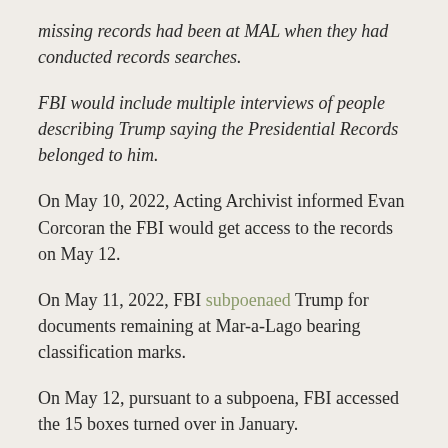missing records had been at MAL when they had conducted records searches.
FBI would include multiple interviews of people describing Trump saying the Presidential Records belonged to him.
On May 10, 2022, Acting Archivist informed Evan Corcoran the FBI would get access to the records on May 12.
On May 11, 2022, FBI subpoenaed Trump for documents remaining at Mar-a-Lago bearing classification marks.
On May 12, pursuant to a subpoena, FBI accessed the 15 boxes turned over in January.
From May 16-18, FBI conducted a preliminary review